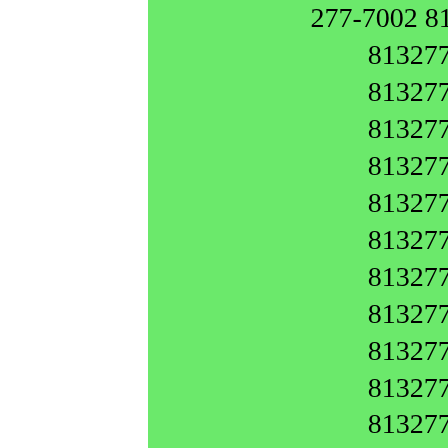277-7002 8132777002. 813-277-2735 8132772735. 813-277-9985 8132779985. 813-277-2269 8132772269. 813-277-1325 8132771325. 813-277-2477 8132772477. 813-277-3801 8132773801. 813-277-4018 8132774018. 813-277-4785 8132774785. 813-277-4019 8132774019. 813-277-6697 8132776697. 813-277-7512 8132777512. 813-277-9103 8132779103. 813-277-0400 Caller Name Identify My Caller 8132770400. 813-277-2913 8132772913. 813-277-9091 8132779091. 813-277-7983 8132777983. 813-277-3319 8132773319. 813-277-2872 8132772872. 813-277-3360 8132773360. 813-277-9686 8132779686. 813-277-3097 8132773097. 813-277-7866 8132777866. 813-277-0384 Caller Name Identify My Caller 8132770384. 813-277-1034 8132771034. 813-277-4539 8132774539. 813-277-1461